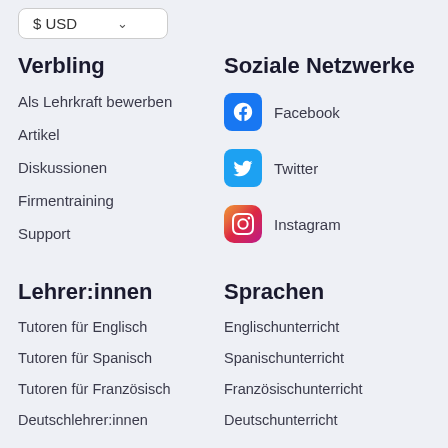$ USD
Verbling
Als Lehrkraft bewerben
Artikel
Diskussionen
Firmentraining
Support
Soziale Netzwerke
Facebook
Twitter
Instagram
Lehrer:innen
Tutoren für Englisch
Tutoren für Spanisch
Tutoren für Französisch
Deutschlehrer:innen
Sprachen
Englischunterricht
Spanischunterricht
Französischunterricht
Deutschunterricht